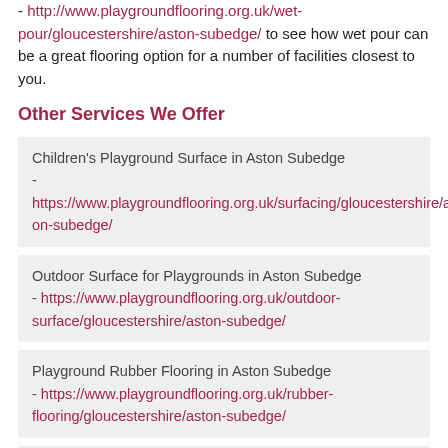- http://www.playgroundflooring.org.uk/wet-pour/gloucestershire/aston-subedge/ to see how wet pour can be a great flooring option for a number of facilities closest to you.
Other Services We Offer
Children's Playground Surface in Aston Subedge - https://www.playgroundflooring.org.uk/surfacing/gloucestershire/aston-subedge/
Outdoor Surface for Playgrounds in Aston Subedge - https://www.playgroundflooring.org.uk/outdoor-surface/gloucestershire/aston-subedge/
Playground Rubber Flooring in Aston Subedge - https://www.playgroundflooring.org.uk/rubber-flooring/gloucestershire/aston-subedge/
Playground Safety Surfacing in Aston Subedge - https://www.playgroundflooring.org.uk/safety-